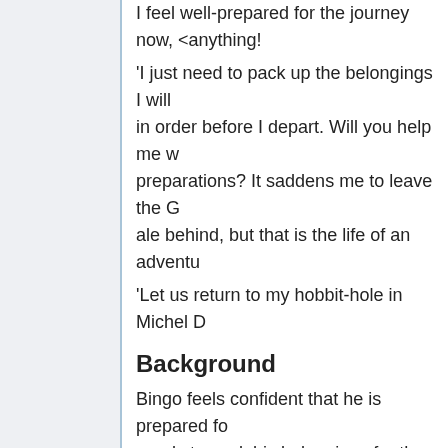I feel well-prepared for the journey now, anything!
'I just need to pack up the belongings I will in order before I depart. Will you help me w preparations? It saddens me to leave the G ale behind, but that is the life of an adventu
'Let us return to my hobbit-hole in Michel D
Background
Bingo feels confident that he is prepared fo needs to pack his belongings for the trip.
Objective 1
Talk to Bingo Boffin inside his hobbi
Bingo is inside his hobbit-hole in the town o
Bingo has to pack for his journey, and has
Bingo Boffin: 'I just need to pack up th order before I depart. Will you help me leave the Golden Perch and her fine ale